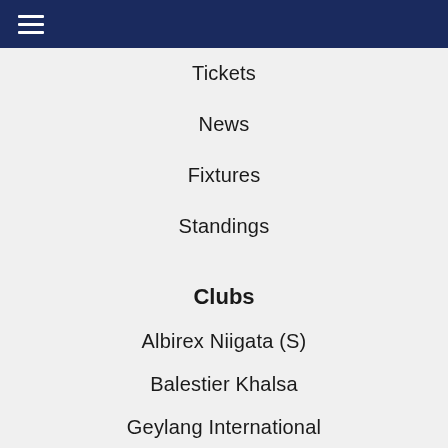☰
Tickets
News
Fixtures
Standings
Clubs
Albirex Niigata (S)
Balestier Khalsa
Geylang International
Lion City Sailors
Hougang United
Tampines Rovers
Tanjong Pagar United
Young Lions